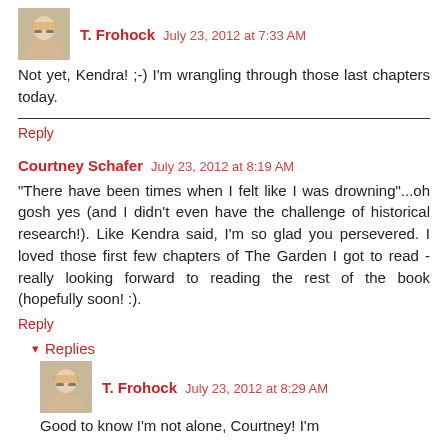[Figure (photo): Avatar photo of T. Frohock, a blonde woman with glasses]
T. Frohock July 23, 2012 at 7:33 AM
Not yet, Kendra! ;-) I'm wrangling through those last chapters today.
Reply
Courtney Schafer July 23, 2012 at 8:19 AM
"There have been times when I felt like I was drowning"...oh gosh yes (and I didn't even have the challenge of historical research!). Like Kendra said, I'm so glad you persevered. I loved those first few chapters of The Garden I got to read - really looking forward to reading the rest of the book (hopefully soon! :).
Reply
Replies
[Figure (photo): Avatar photo of T. Frohock, a blonde woman with glasses]
T. Frohock July 23, 2012 at 8:29 AM
Good to know I'm not alone, Courtney! I'm